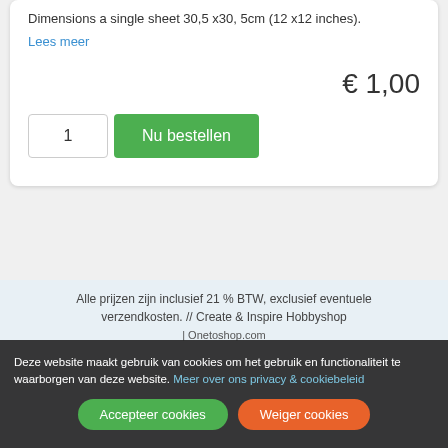Dimensions a single sheet 30,5 x30, 5cm (12 x12 inches).
Lees meer
€ 1,00
1  Nu bestellen
Alle prijzen zijn inclusief 21 % BTW, exclusief eventuele verzendkosten. // Create & Inspire Hobbyshop
Deze website maakt gebruik van cookies om het gebruik en functionaliteit te waarborgen van deze website. Meer over ons privacy & cookiebeleid
| Onetoshop.com
Accepteer cookies
Weiger cookies